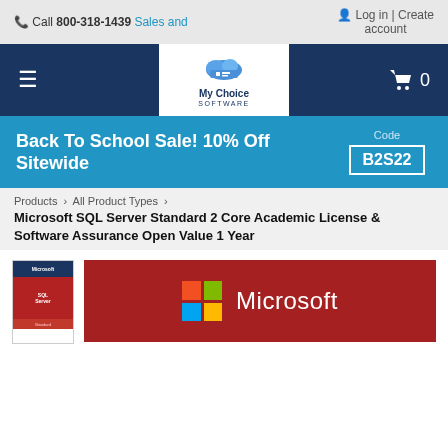Call 800-318-1439 Sales and | Log in | Create account
[Figure (logo): My Choice Software logo with cloud icon on dark blue navigation bar]
Back To School Sale! 10% Off Sitewide  Code B2S22
Products › All Product Types ›
Microsoft SQL Server Standard 2 Core Academic License & Software Assurance Open Value 1 Year
[Figure (photo): Microsoft SQL Server product thumbnail and Microsoft branding banner on red background]